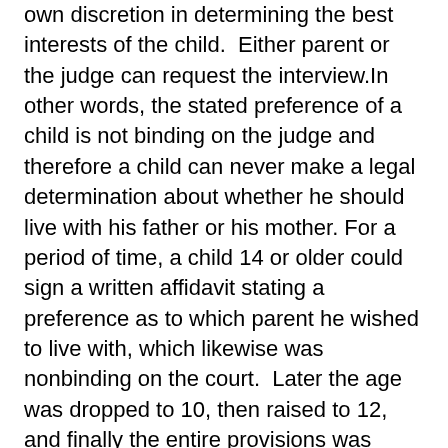own discretion in determining the best interests of the child.  Either parent or the judge can request the interview.In other words, the stated preference of a child is not binding on the judge and therefore a child can never make a legal determination about whether he should live with his father or his mother. For a period of time, a child 14 or older could sign a written affidavit stating a preference as to which parent he wished to live with, which likewise was nonbinding on the court.  Later the age was dropped to 10, then raised to 12, and finally the entire provisions was repealed altogether.  No sworn, written statements of a child are admissible into evidence or into the court's record of the case.The rationale, after all those fits and starts in the law, is that children